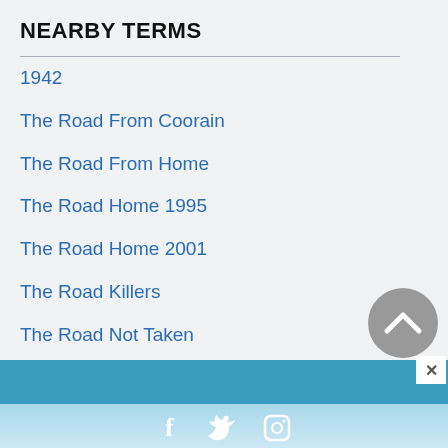NEARBY TERMS
1942
The Road From Coorain
The Road From Home
The Road Home 1995
The Road Home 2001
The Road Killers
The Road Not Taken
The Road To Bali
Social media links: Facebook, Twitter, Instagram